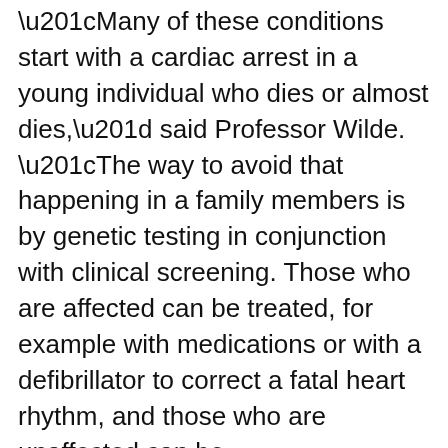“Many of these conditions start with a cardiac arrest in a young individual who dies or almost dies,” said Professor Wilde. “The way to avoid that happening in a family members is by genetic testing in conjunction with clinical screening. Those who are affected can be treated, for example with medications or with a defibrillator to correct a fatal heart rhythm, and those who are unaffected can be reassured.”
Genetic counselling is essential and should start even before clinical and genetic testing are performed. A diagnosis can be life-changing as it “may provoke significant anxiety or aggressive treatment”, states the document. Professor Wilde said that the